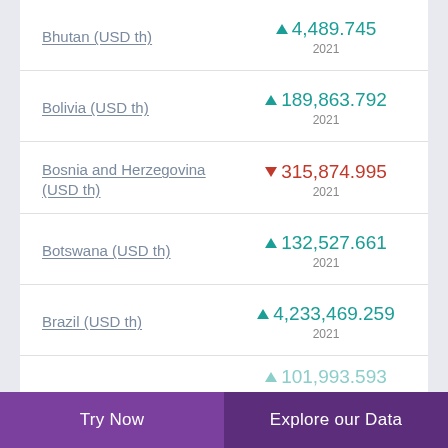Bhutan (USD th) ▲ 4,489.745 2021
Bolivia (USD th) ▲ 189,863.792 2021
Bosnia and Herzegovina (USD th) ▼ 315,874.995 2021
Botswana (USD th) ▲ 132,527.661 2021
Brazil (USD th) ▲ 4,233,469.259 2021
101,993.593 (partial, country clipped)
Try Now   Explore our Data